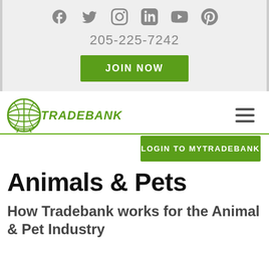[Figure (other): Social media icons row: Facebook, Twitter, Instagram, LinkedIn, YouTube, Pinterest]
205-225-7242
JOIN NOW
[Figure (logo): Tradebank globe logo with green globe icon and italic green TRADEBANK text]
LOGIN TO MYTRADEBANK
Animals & Pets
How Tradebank works for the Animal & Pet Industry